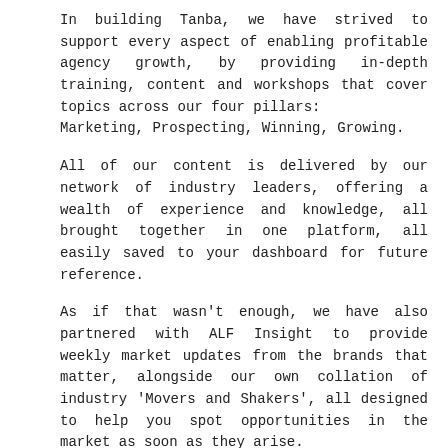In building Tanba, we have strived to support every aspect of enabling profitable agency growth, by providing in-depth training, content and workshops that cover topics across our four pillars: Marketing, Prospecting, Winning, Growing.
All of our content is delivered by our network of industry leaders, offering a wealth of experience and knowledge, all brought together in one platform, all easily saved to your dashboard for future reference.
As if that wasn't enough, we have also partnered with ALF Insight to provide weekly market updates from the brands that matter, alongside our own collation of industry 'Movers and Shakers', all designed to help you spot opportunities in the market as soon as they arise.